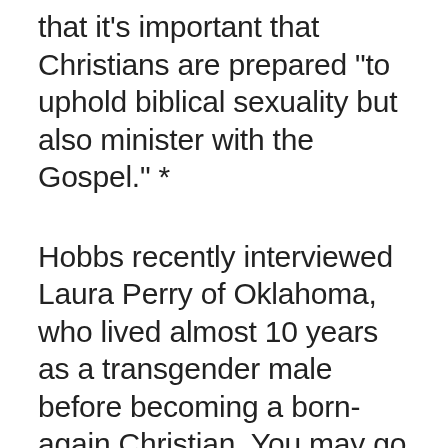that it’s important that Christians are prepared “to uphold biblical sexuality but also minister with the Gospel.” *
Hobbs recently interviewed Laura Perry of Oklahoma, who lived almost 10 years as a transgender male before becoming a born-again Christian. You may go to www.baptistmessenger.com to hear that interview.